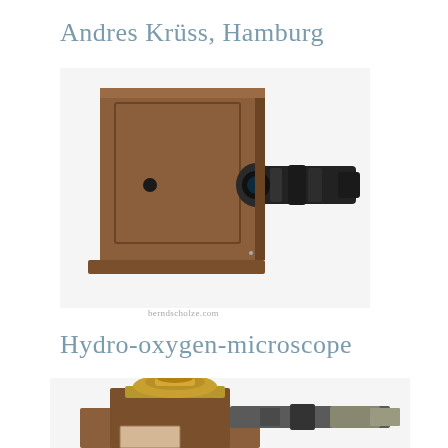Andres Krüss, Hamburg
[Figure (photo): Antique wooden box magic lantern projector with black metal lens barrel extending from the right side, sitting on a wooden base. Watermark text 'berndscholze.com' visible below.]
Hydro-oxygen-microscope
[Figure (photo): Antique hydro-oxygen microscope with brass dome-shaped top section, wooden body, and optical components extending to the right. Partial view cropped at bottom of page.]